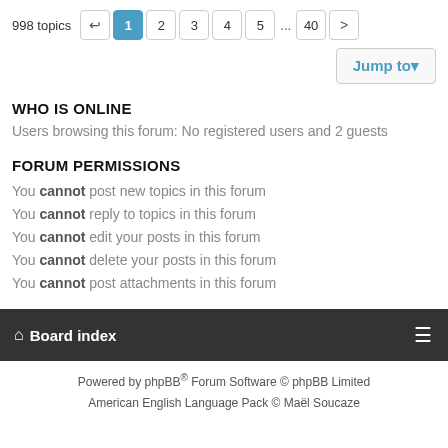998 topics  1 2 3 4 5 ... 40 >
Jump to▾
WHO IS ONLINE
Users browsing this forum: No registered users and 2 guests
FORUM PERMISSIONS
You cannot post new topics in this forum
You cannot reply to topics in this forum
You cannot edit your posts in this forum
You cannot delete your posts in this forum
You cannot post attachments in this forum
Board index  ≡
Powered by phpBB® Forum Software © phpBB Limited
American English Language Pack © Maël Soucaze